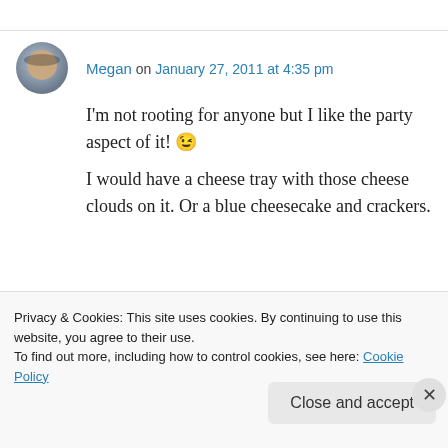Megan on January 27, 2011 at 4:35 pm
I'm not rooting for anyone but I like the party aspect of it! 😉
I would have a cheese tray with those cheese clouds on it. Or a blue cheesecake and crackers.
↳ Reply
[Figure (photo): Row of circular avatar photos of commenters]
Privacy & Cookies: This site uses cookies. By continuing to use this website, you agree to their use. To find out more, including how to control cookies, see here: Cookie Policy
Close and accept